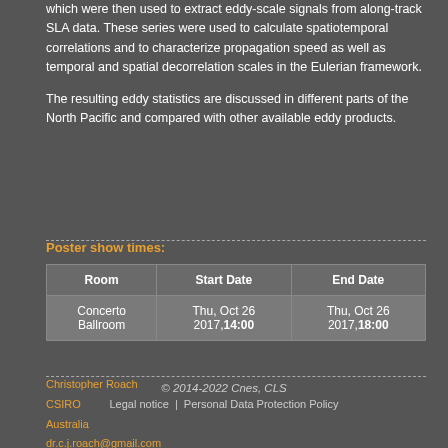which were then used to extract eddy-scale signals from along-track SLA data. These series were used to calculate spatiotemporal correlations and to characterize propagation speed as well as temporal and spatial decorrelation scales in the Eulerian framework.
The resulting eddy statistics are discussed in different parts of the North Pacific and compared with other available eddy products.
Poster show times:
| Room | Start Date | End Date |
| --- | --- | --- |
| Concerto Ballroom | Thu, Oct 26 2017,14:00 | Thu, Oct 26 2017,18:00 |
Christopher Roach
CSIRO
Australia
dr.c.j.roach@gmail.com
© 2014-2022 Cnes, CLS
Legal notice | Personal Data Protection Policy